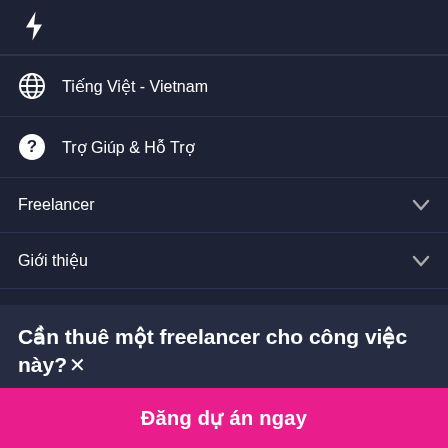[Figure (logo): Freelancer.com logo icon (stylized lightning bolt in white on dark background)]
🌐 Tiếng Việt - Vietnam
❓ Trợ Giúp & Hỗ Trợ
Freelancer ∨
Giới thiệu ∨
Điều Khoản ∨
Cần thuê một freelancer cho công việc này? ×
Đăng dự án ngay